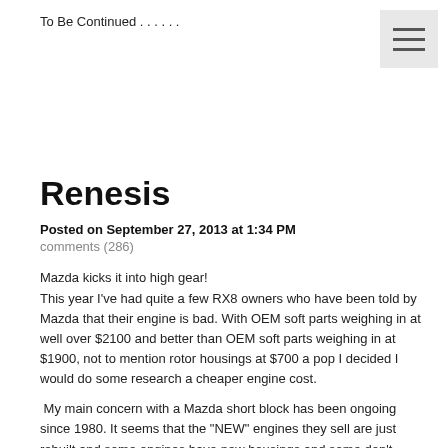To Be Continued . . . . . .
[Figure (illustration): Hamburger menu icon (three horizontal lines) on a light gray square background, positioned top-right corner]
Renesis
Posted on September 27, 2013 at 1:34 PM
comments (286)
Mazda kicks it into high gear!
This year I've had quite a few RX8 owners who have been told by Mazda  that their engine is bad. With OEM soft parts weighing in at well over $2100 and better than OEM soft parts weighing in at $1900, not to mention rotor housings at $700 a pop I decided I would do some research a cheaper engine cost.
My main concern with a Mazda short block has been ongoing since 1980. It seems that the "NEW" engines they sell are just rebuilt and some engines have new housings and some don't . . . . . . . hmm, anyway never mind that I have in the past thirty years  installed 7 of them for customers , but I have personally seen chrome flake from a crate engine visible with my $80 Harbor Freight bore camera in 4!